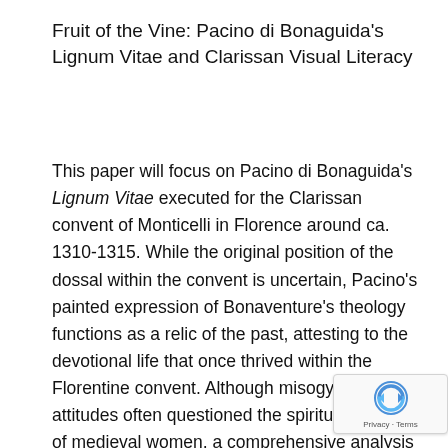Fruit of the Vine: Pacino di Bonaguida's Lignum Vitae and Clarissan Visual Literacy
This paper will focus on Pacino di Bonaguida's Lignum Vitae executed for the Clarissan convent of Monticelli in Florence around ca. 1310-1315. While the original position of the dossal within the convent is uncertain, Pacino's painted expression of Bonaventure's theology functions as a relic of the past, attesting to the devotional life that once thrived within the Florentine convent. Although misogynistic attitudes often questioned the spiritual acumen of medieval women, a comprehensive analysis of the painting's arboreal design reveals an advanced visual literacy opera within the Clarissan community at Monticelli. By thoroughly examining Pacino's trailblazing work, this